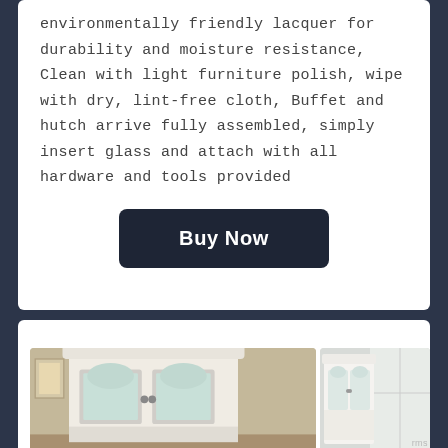environmentally friendly lacquer for durability and moisture resistance, Clean with light furniture polish, wipe with dry, lint-free cloth, Buffet and hutch arrive fully assembled, simply insert glass and attach with all hardware and tools provided
Buy Now
[Figure (photo): Bottom section showing white hutch/buffet furniture product images]